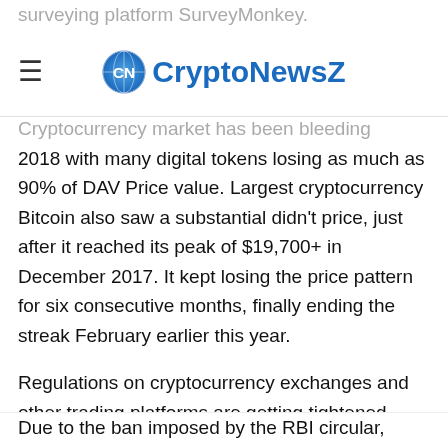surveying platform SurveyMonkey.
[Figure (logo): CryptoNewsZ logo with globe icon]
Cryptocurrency market has been bleeding throughout 2018 with many digital tokens losing as much as 90% of DAV Price value. Largest cryptocurrency Bitcoin also saw a substantial didn't price, just after it reached its peak of $19,700+ in December 2017. It kept losing the price pattern for six consecutive months, finally ending the streak February earlier this year.
Regulations on cryptocurrency exchanges and other trading platforms are getting tightened throughout the globe. Especially, after the recent QuadrigaCX debacle, government servant taking extra effort while laying down regulations for the sector.
Due to the ban imposed by the RBI circular, several